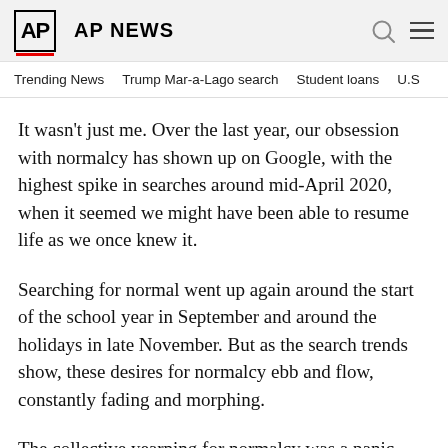AP AP NEWS
Trending News  Trump Mar-a-Lago search  Student loans  U.S
It wasn’t just me. Over the last year, our obsession with normalcy has shown up on Google, with the highest spike in searches around mid-April 2020, when it seemed we might have been able to resume life as we once knew it.
Searching for normal went up again around the start of the school year in September and around the holidays in late November. But as the search trends show, these desires for normalcy ebb and flow, constantly fading and morphing.
The collective yearning for normalcy was a panic-inducing